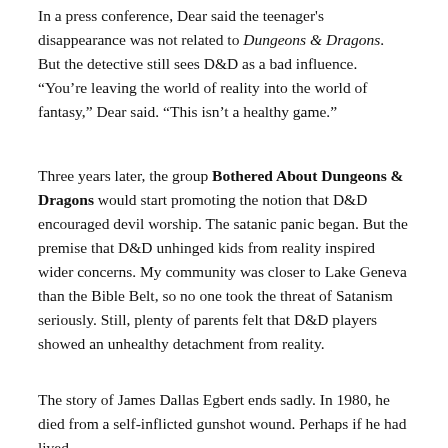In a press conference, Dear said the teenager's disappearance was not related to Dungeons & Dragons. But the detective still sees D&D as a bad influence. “You’re leaving the world of reality into the world of fantasy,” Dear said. “This isn’t a healthy game.”
Three years later, the group Bothered About Dungeons & Dragons would start promoting the notion that D&D encouraged devil worship. The satanic panic began. But the premise that D&D unhinged kids from reality inspired wider concerns. My community was closer to Lake Geneva than the Bible Belt, so no one took the threat of Satanism seriously. Still, plenty of parents felt that D&D players showed an unhealthy detachment from reality.
The story of James Dallas Egbert ends sadly. In 1980, he died from a self-inflicted gunshot wound. Perhaps if he had lived to tell it, he would have added to what we know about gaming’s di...